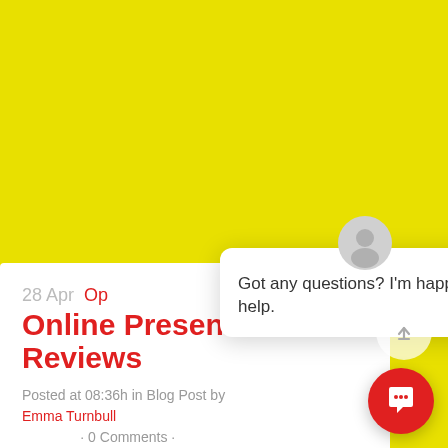[Figure (screenshot): Yellow background covering the upper portion of the page]
[Figure (screenshot): Chat popup widget with avatar, close button, and message 'Got any questions? I'm happy to help.']
Got any questions? I'm happy to help.
28 Apr Optimise Your Online Presence For Reviews
Posted at 08:36h in Blog Post by Emma Turnbull · 0 Comments ·